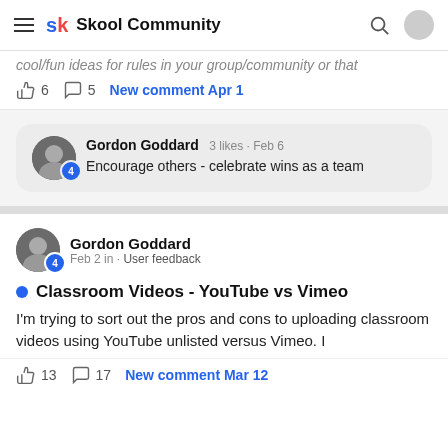Skool Community
cool/fun ideas for rules in your group/community or that
6  5  New comment Apr 1
Gordon Goddard  3 likes · Feb 6
Encourage others - celebrate wins as a team
Gordon Goddard
Feb 2 in · User feedback
Classroom Videos - YouTube vs Vimeo
I'm trying to sort out the pros and cons to uploading classroom videos using YouTube unlisted versus Vimeo. I
13  17  New comment Mar 12